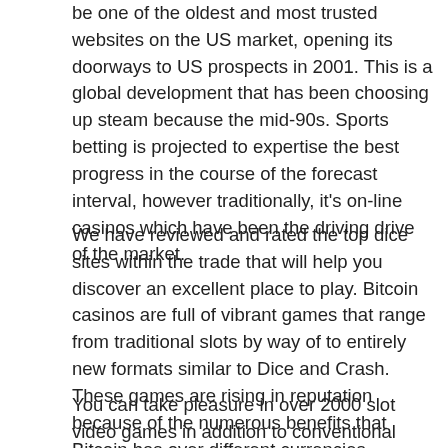be one of the oldest and most trusted websites on the US market, opening its doorways to US prospects in 2001. This is a global development that has been choosing up steam because the mid-90s. Sports betting is projected to expertise the best progress in the course of the forecast interval, however traditionally, it's on-line casinos which have been the driving drive of the market.
We have reviewed and rated the top dice sites within the trade that will help you discover an excellent place to play. Bitcoin casinos are full of vibrant games that range from traditional slots by way of to entirely new formats similar to Dice and Crash. These games are rising in reputation because of the numerous benefits that Bitcoin has over different currencies.
You can take pleasure in over 2000 slot video games in addition to conventional ones corresponding to baccarat, blackjack, poker, and roulette. You may even strive your